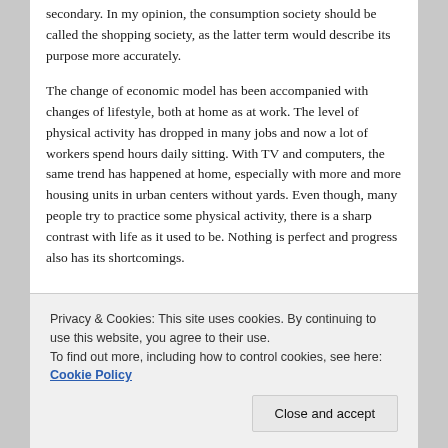secondary. In my opinion, the consumption society should be called the shopping society, as the latter term would describe its purpose more accurately.
The change of economic model has been accompanied with changes of lifestyle, both at home as at work. The level of physical activity has dropped in many jobs and now a lot of workers spend hours daily sitting. With TV and computers, the same trend has happened at home, especially with more and more housing units in urban centers without yards. Even though, many people try to practice some physical activity, there is a sharp contrast with life as it used to be. Nothing is perfect and progress also has its shortcomings.
Privacy & Cookies: This site uses cookies. By continuing to use this website, you agree to their use. To find out more, including how to control cookies, see here: Cookie Policy